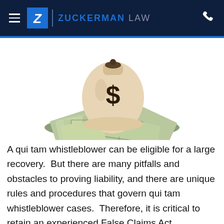Zuckerman Law
[Figure (illustration): A money bag with a dollar sign sitting on top of a large pile of US dollar bills]
A qui tam whistleblower can be eligible for a large recovery.  But there are many pitfalls and obstacles to proving liability, and there are unique rules and procedures that govern qui tam whistleblower cases.  Therefore, it is critical to retain an experienced False Claims Act